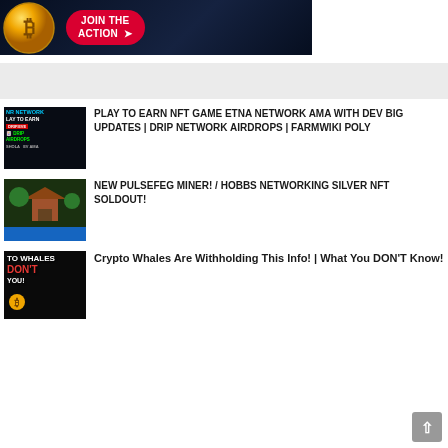[Figure (photo): Banner advertisement showing a Bitcoin gold coin on the left and a red JOIN THE ACTION button with arrow cursor on a dark blue background]
[Figure (photo): Gray advertisement placeholder bar]
[Figure (photo): Thumbnail for Play to Earn NFT Game article - dark background with game interface and text]
PLAY TO EARN NFT GAME ETNA NETWORK AMA WITH DEV BIG UPDATES | DRIP NETWORK AIRDROPS | FARMWIKI POLY
[Figure (photo): Thumbnail for New PulseFeg Miner article showing a tropical gaming scene]
NEW PULSEFEG MINER! / HOBBS NETWORKING SILVER NFT SOLDOUT!
[Figure (photo): Thumbnail for Crypto Whales article showing two men with text TO WHALES DON'T YOU! on dark background]
Crypto Whales Are Withholding This Info! | What You DON'T Know!